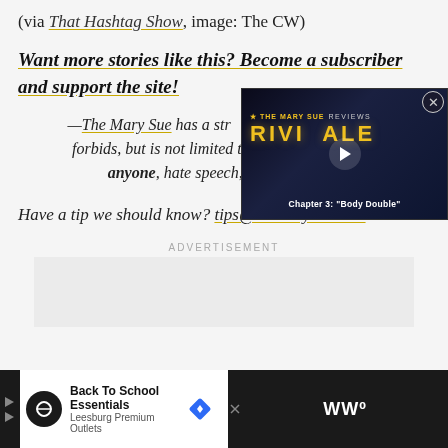(via That Hashtag Show, image: The CW)
Want more stories like this? Become a subscriber and support the site!
—The Mary Sue has a strict comment policy that forbids, but is not limited to, personal insults to anyone, hate speech, and trolling.—
Have a tip we should know? tips@themarysue.com
[Figure (screenshot): Video overlay showing Mary Sue Reviews Riverdale Chapter 3: Body Double with play button]
ADVERTISEMENT
[Figure (other): Bottom advertisement bar: Back To School Essentials, Leesburg Premium Outlets]